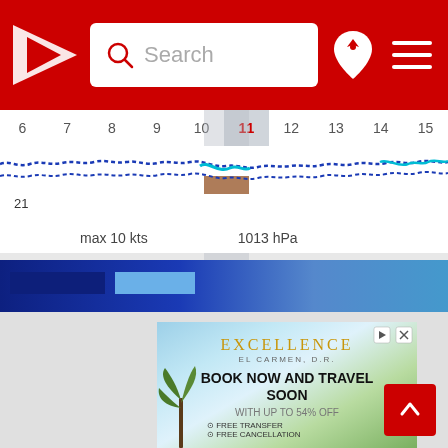[Figure (screenshot): App header with red background, Windy logo (white triangle with red arrow), search bar with magnifying glass icon and 'Search' placeholder text, location pin icon with star, and hamburger menu icon]
[Figure (continuous-plot): Weather chart showing wind/wave data timeline for days 6-15, with day 11 highlighted in gray. Blue wavy lines indicating wind/wave patterns across days. Shows 'max 10 kts' and '1013 hPa' labels. Number 21 visible on left. Blue gradient bar at bottom with dark blue and light blue legend segments.]
[Figure (screenshot): Advertisement for Excellence El Carmen D.R. resort showing tropical beach scene with palm trees, text: EXCELLENCE, EL CARMEN D.R., BOOK NOW AND TRAVEL SOON, WITH UP TO 54% OFF, FREE TRANSFER, FREE CANCELLATION. Ad controls (play and close buttons) visible top right. Red scroll-to-top arrow button bottom right.]